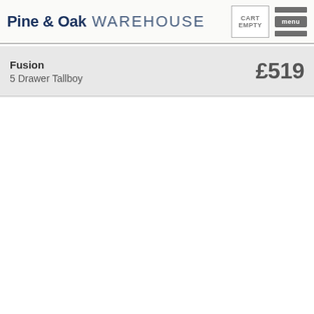Pine & Oak WAREHOUSE | CART EMPTY | menu
Fusion 5 Drawer Tallboy £519